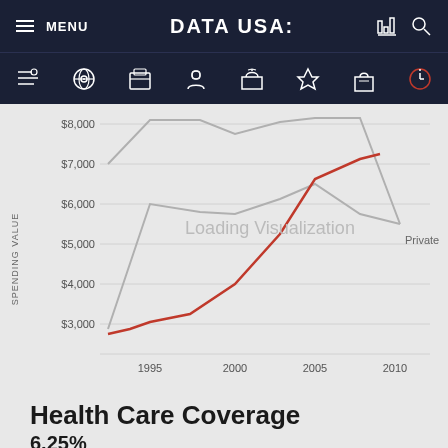MENU | DATA USA:
[Figure (line-chart): Loading Visualization]
Health Care Coverage
6.25%